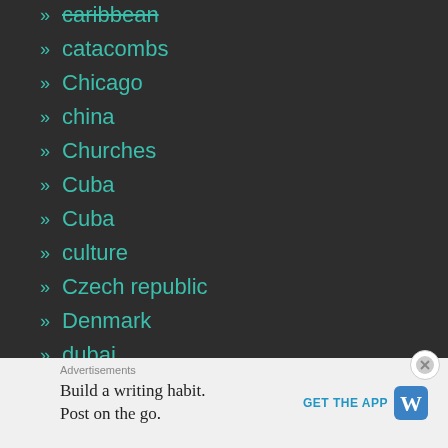» caribbean
» catacombs
» Chicago
» china
» Churches
» Cuba
» Cuba
» culture
» Czech republic
» Denmark
» dubai
» Dublin
Advertisements
Build a writing habit. Post on the go. GET THE APP